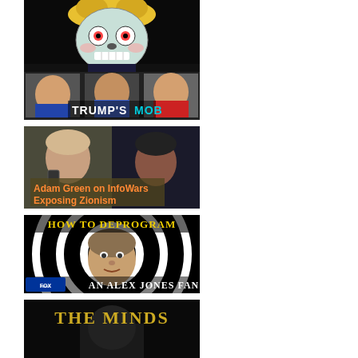[Figure (illustration): Thumbnail image showing a psychedelic zombie skull with blonde hair on top, and below it three men's faces labeled 'TRUMP'S MOB' in white text with 'MOB' in teal/cyan color]
[Figure (photo): Thumbnail showing two people, one with long hair holding a phone on left, another person on right in dark setting, with orange text overlay reading 'Adam Green on InfoWars Exposing Zionism']
[Figure (photo): Thumbnail showing a black and white spiral hypnosis pattern background with a man's face in center, Fox News logo bottom left, yellow text 'HOW TO DEPROGRAM' at top and white text 'AN ALEX JONES FAN' at bottom]
[Figure (photo): Partial thumbnail showing black background with yellow/gold text 'THE MINDS' visible at top, partially cut off at bottom of page]